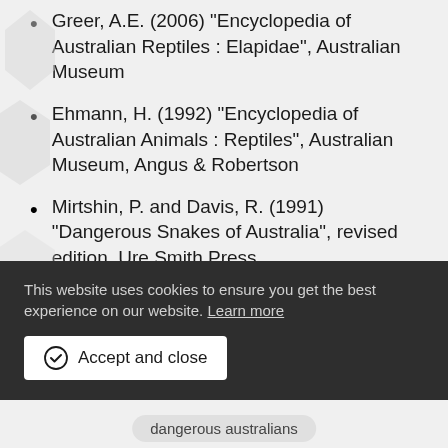Greer, A.E. (2006) “Encyclopedia of Australian Reptiles : Elapidae”, Australian Museum
Ehmann, H. (1992) “Encyclopedia of Australian Animals : Reptiles”, Australian Museum, Angus & Robertson
Mirtshin, P. and Davis, R. (1991) “Dangerous Snakes of Australia”, revised edition, Ure Smith Press
This website uses cookies to ensure you get the best experience on our website. Learn more
Accept and close
dangerous australians